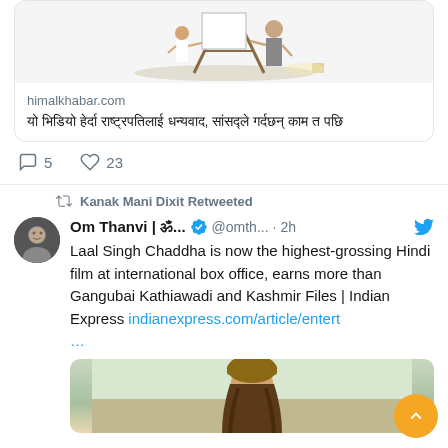[Figure (illustration): Illustration of two people painting at an easel, shown inside a Twitter link card for himalkhabar.com]
himalkhabar.com
Nepali text headline from himalkhabar.com article
5 replies, 23 likes
Kanak Mani Dixit Retweeted
Om Thanvi | ॐ... @omth... · 2h
Laal Singh Chaddha is now the highest-grossing Hindi film at international box office, earns more than Gangubai Kathiawadi and Kashmir Files | Indian Express indianexpress.com/article/entert ...
[Figure (photo): Partial preview image of a person wearing a cap, from the Indian Express article about Laal Singh Chaddha]